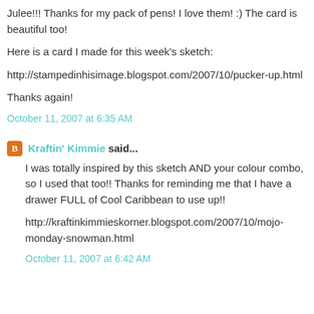Julee!!! Thanks for my pack of pens! I love them! :) The card is beautiful too!
Here is a card I made for this week's sketch:
http://stampedinhisimage.blogspot.com/2007/10/pucker-up.html
Thanks again!
October 11, 2007 at 6:35 AM
Kraftin' Kimmie said...
I was totally inspired by this sketch AND your colour combo, so I used that too!! Thanks for reminding me that I have a drawer FULL of Cool Caribbean to use up!!
http://kraftinkimmieskorner.blogspot.com/2007/10/mojo-monday-snowman.html
October 11, 2007 at 6:42 AM